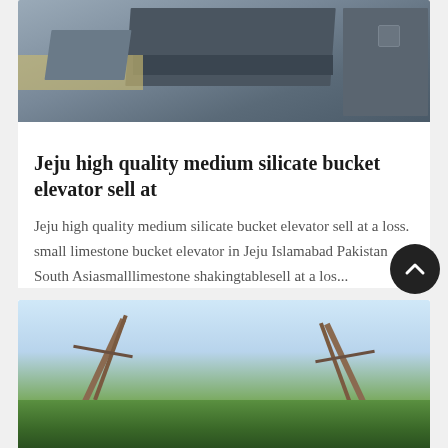[Figure (photo): Photo of industrial metal bucket elevator equipment, dark grey metal parts on a concrete/beige surface]
Jeju high quality medium silicate bucket elevator sell at
Jeju high quality medium silicate bucket elevator sell at a loss. small limestone bucket elevator in Jeju Islamabad Pakistan South Asiasmalllimestone shakingtablesell at a los...
Get Price
[Figure (photo): Photo of large industrial conveyor or elevator structure outdoors with trees and sky in background]